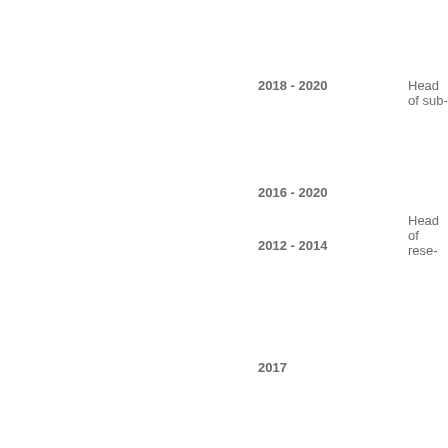2018 - 2020    Head of sub-
2016 - 2020
Head of rese-
2012 - 2014
2017    Researcher